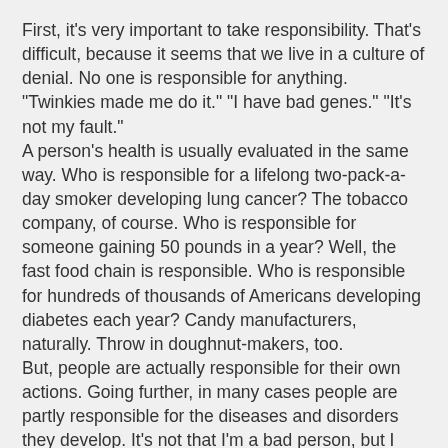First, it's very important to take responsibility. That's difficult, because it seems that we live in a culture of denial. No one is responsible for anything. "Twinkies made me do it." "I have bad genes." "It's not my fault."
A person's health is usually evaluated in the same way. Who is responsible for a lifelong two-pack-a-day smoker developing lung cancer? The tobacco company, of course. Who is responsible for someone gaining 50 pounds in a year? Well, the fast food chain is responsible. Who is responsible for hundreds of thousands of Americans developing diabetes each year? Candy manufacturers, naturally. Throw in doughnut-makers, too.
But, people are actually responsible for their own actions. Going further, in many cases people are partly responsible for the diseases and disorders they develop. It's not that I'm a bad person, but I may be making choices that aren't in my own best interests.
"Lifestyle health" is a relatively new term being used by many researchers and health practitioners. From a lifestyle perspective, many cases of [Accessibility View] nd obesity,